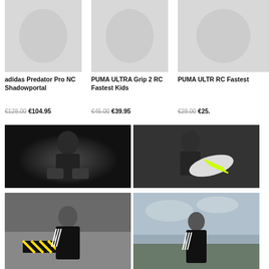[Figure (photo): adidas Predator Pro NC Shadowportal goalkeeper gloves product image]
adidas Predator Pro NC Shadowportal
€128.00  €104.95
[Figure (photo): PUMA ULTRA Grip 2 RC Fastest Kids goalkeeper gloves product image]
PUMA ULTRA Grip 2 RC Fastest Kids
€45.00  €39.95
[Figure (photo): PUMA ULTRA Grip RC Fastest product image (partially visible)]
PUMA ULTR RC Fastest
€28.00  €25.
[Figure (photo): Goalkeeper wearing adidas gloves, dark dramatic lighting, looking down]
[Figure (photo): Goalkeeper holding adidas football boots with yellow stripes, dark background]
[Figure (photo): Player in black adidas kit looking down, yellow caution tape in background]
[Figure (photo): Player in black adidas kit standing outdoors against cloudy sky]